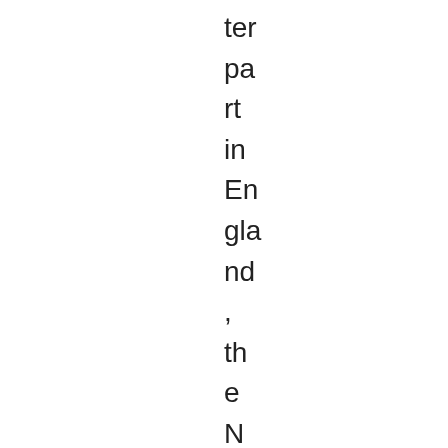ter
pa
rt
in
En
gla
nd
,
th
e
N
H
S
in
Sc
otl